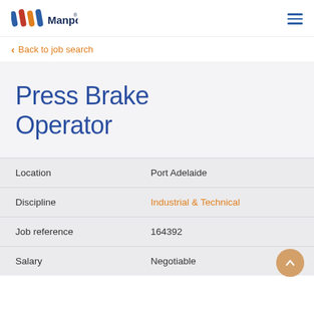[Figure (logo): Manpower logo with colorful striped icon and 'Manpower' text in dark blue]
< Back to job search
Press Brake Operator
| Location | Port Adelaide |
| Discipline | Industrial & Technical |
| Job reference | 164392 |
| Salary | Negotiable |